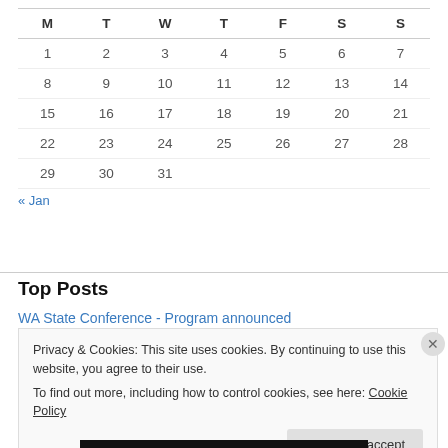| M | T | W | T | F | S | S |
| --- | --- | --- | --- | --- | --- | --- |
| 1 | 2 | 3 | 4 | 5 | 6 | 7 |
| 8 | 9 | 10 | 11 | 12 | 13 | 14 |
| 15 | 16 | 17 | 18 | 19 | 20 | 21 |
| 22 | 23 | 24 | 25 | 26 | 27 | 28 |
| 29 | 30 | 31 |  |  |  |  |
« Jan
Top Posts
WA State Conference - Program announced
Privacy & Cookies: This site uses cookies. By continuing to use this website, you agree to their use.
To find out more, including how to control cookies, see here: Cookie Policy
Close and accept